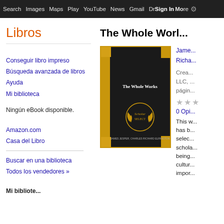Search  Images  Maps  Play  YouTube  News  Gmail  Dr...  More  Sign In  ⚙
Libros
Conseguir libro impreso
Búsqueda avanzada de libros
Ayuda
Mi biblioteca
Ningún eBook disponible.
Amazon.com
Casa del Libro
Buscar en una biblioteca
Todos los vendedores »
Mi bibliote...
The Whole Work...
[Figure (photo): Book cover of 'The Whole Works' - Scholar Select edition, black cover with gold corner accents and gold scholar select emblem, authors James Jesper, Charles Richard Elrington shown at bottom]
Jame... Richa...
Crea... LLC, ... págin...
★★★
0 Opi...
This w... has b... selec... schola... being... cultur... impor...